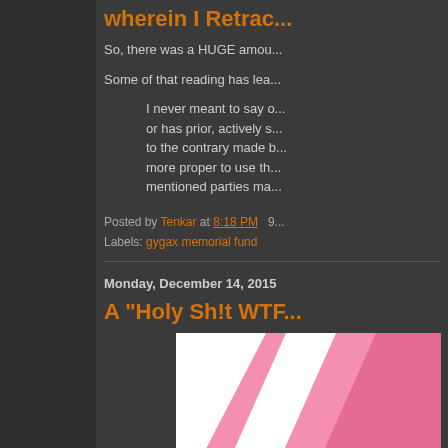wherein I Retrac...
So, there was a HUGE amou...
Some of that reading has lea...
I never meant to say o... or has prior, actively s... to the contrary made b... more proper to use th... mentioned parties ma...
Posted by Tenkar at 8:18 PM  9...
Labels: gygax memorial fund
Monday, December 14, 2015
A "Holy Sh!t WTF...
[Figure (photo): Partial image showing pink and white geometric shapes/design, cropped at page bottom]